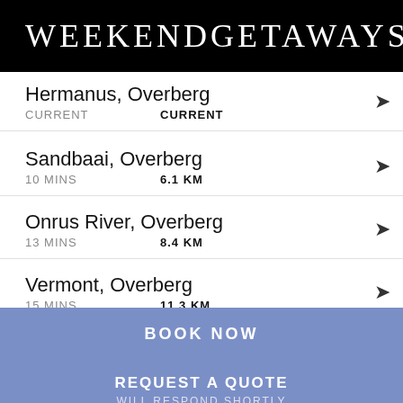WeekendGetaways
Hermanus, Overberg
CURRENT   CURRENT
Sandbaai, Overberg
10 MINS   6.1 KM
Onrus River, Overberg
13 MINS   8.4 KM
Vermont, Overberg
15 MINS   11.3 KM
Fisherhaven, Overberg
18 MINS   16.1 KM
Stanford, Overberg
BOOK NOW
REQUEST A QUOTE
WILL RESPOND SHORTLY
97 MINS   90.4 KM